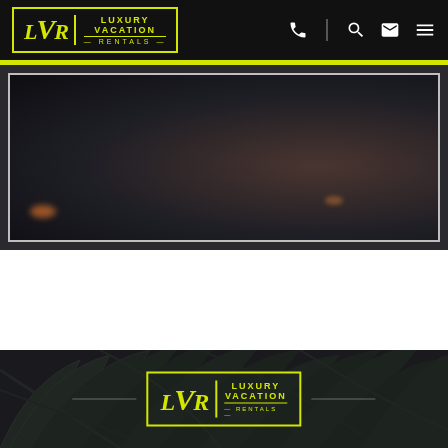[Figure (logo): Luxury Vacation Rentals logo in header navigation bar with yellow/gold LVR monogram and text on dark background]
[Figure (photo): Dark moody hero image with bokeh light effects, framed with white border on dark background]
[Figure (logo): Luxury Vacation Rentals footer logo centered with horizontal decorative lines on dark background with palm leaf texture]